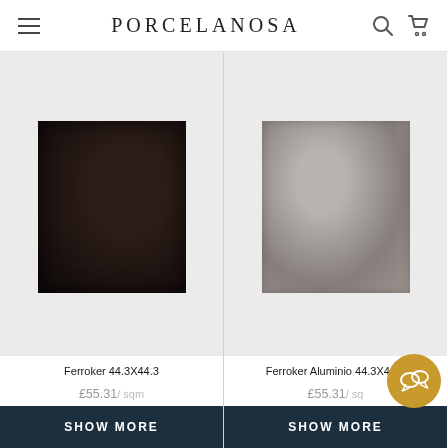PORCELANOSA
[Figure (photo): Dark brown/black textured tile sample for Ferroker 44.3X44.3]
Ferroker 44.3X44.3
£55.31 / sqm
SHOW MORE
[Figure (photo): Light grey/taupe textured tile sample for Ferroker Aluminio 44.3X44.3]
Ferroker Aluminio 44.3X44.3
£55.31 / sqm
SHOW MORE